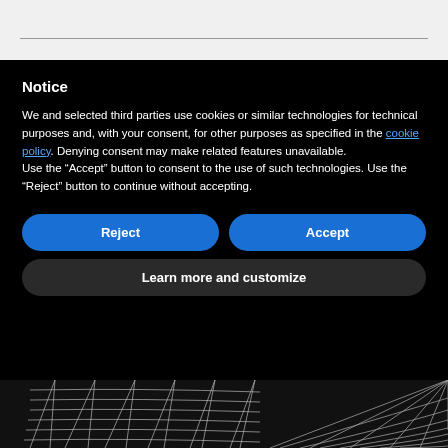Notice
We and selected third parties use cookies or similar technologies for technical purposes and, with your consent, for other purposes as specified in the cookie policy. Denying consent may make related features unavailable.
Use the "Accept" button to consent to the use of such technologies. Use the "Reject" button to continue without accepting.
Reject
Accept
Learn more and customize
[Figure (photo): Spiderweb illustration on dark background, showing geometric web pattern on the left and curved concentric arcs on the right]